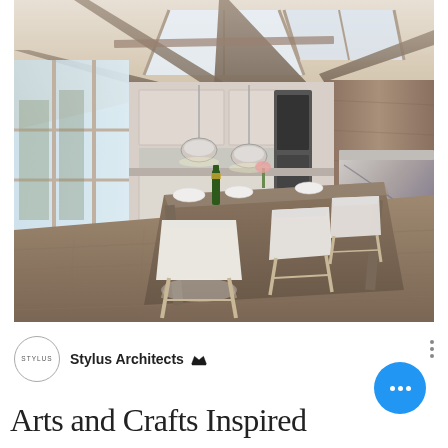[Figure (photo): Interior architectural rendering of a modern Arts and Crafts inspired kitchen/dining space with exposed wooden beam ceiling structure, skylights, pendant chrome lights, white dining chairs, marble island, and hardwood floors.]
Stylus Architects (with crown badge)
Arts and Crafts Inspired